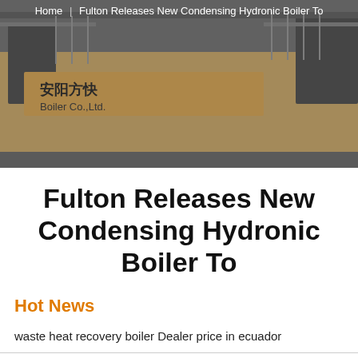[Figure (photo): Background photo of a boiler factory building exterior with Chinese text signage reading 安阳方快 Boiler Co.,Ltd., with a gate and courtyard visible]
Home | Fulton Releases New Condensing Hydronic Boiler To
Fulton Releases New Condensing Hydronic Boiler To
Hot News
waste heat recovery boiler Dealer price in ecuador
China Factory Coal Fired steam Boiler for Factory